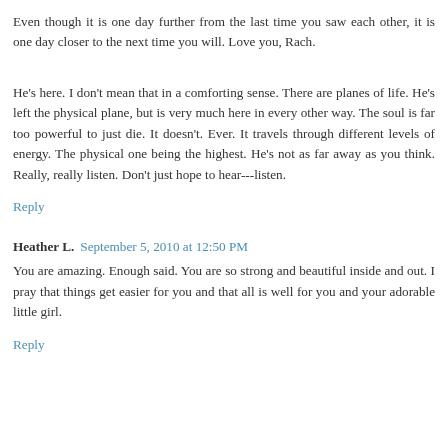Even though it is one day further from the last time you saw each other, it is one day closer to the next time you will. Love you, Rach.
He's here. I don't mean that in a comforting sense. There are planes of life. He's left the physical plane, but is very much here in every other way. The soul is far too powerful to just die. It doesn't. Ever. It travels through different levels of energy. The physical one being the highest. He's not as far away as you think. Really, really listen. Don't just hope to hear---listen.
Reply
Heather L.  September 5, 2010 at 12:50 PM
You are amazing. Enough said. You are so strong and beautiful inside and out. I pray that things get easier for you and that all is well for you and your adorable little girl.
Reply